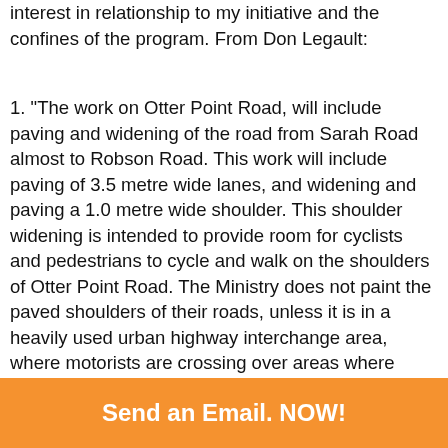interest in relationship to my initiative and the confines of the program. From Don Legault:
1. "The work on Otter Point Road, will include paving and widening of the road from Sarah Road almost to Robson Road. This work will include paving of 3.5 metre wide lanes, and widening and paving a 1.0 metre wide shoulder. This shoulder widening is intended to provide room for cyclists and pedestrians to cycle and walk on the shoulders of Otter Point Road. The Ministry does not paint the paved shoulders of their roads, unless it is in a heavily used urban highway interchange area, where motorists are crossing over areas where cyclists can be expected to be travelling." And he further stated that "We have announced a resurfacing project on Hwy 14, that will be starting next year on an 11 km section between
Send an Email. NOW!